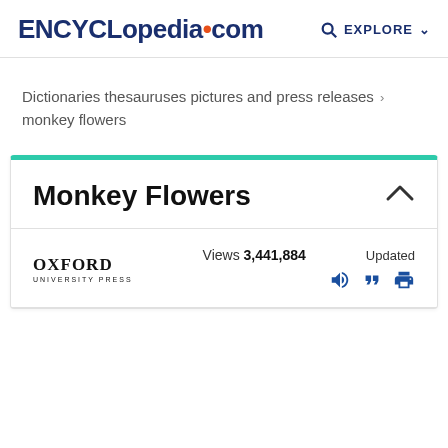ENCYCLopedia.com  EXPLORE
Dictionaries thesauruses pictures and press releases › monkey flowers
Monkey Flowers
OXFORD UNIVERSITY PRESS  Views 3,441,884  Updated